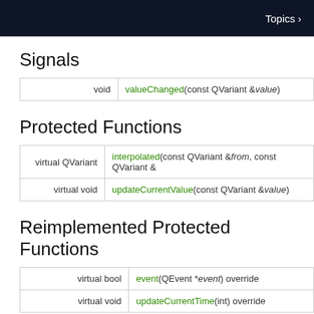Topics
Signals
|  |  |
| --- | --- |
| void | valueChanged(const QVariant &value) |
Protected Functions
|  |  |
| --- | --- |
| virtual QVariant | interpolated(const QVariant &from, const QVariant &... |
| virtual void | updateCurrentValue(const QVariant &value) |
Reimplemented Protected Functions
|  |  |
| --- | --- |
| virtual bool | event(QEvent *event) override |
| virtual void | updateCurrentTime(int) override |